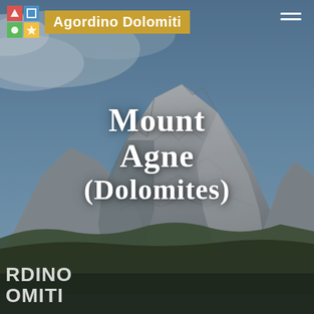[Figure (photo): Full-page photograph of Mount Agne in the Dolomites — dramatic rocky mountain peaks under a blue-grey cloudy sky, with forested foothills in the foreground. The mountain face is pale grey limestone with rugged vertical ridges. The image serves as the background for the entire page.]
Agordino Dolomiti
Mount Agne (Dolomites)
RDINO OMITI